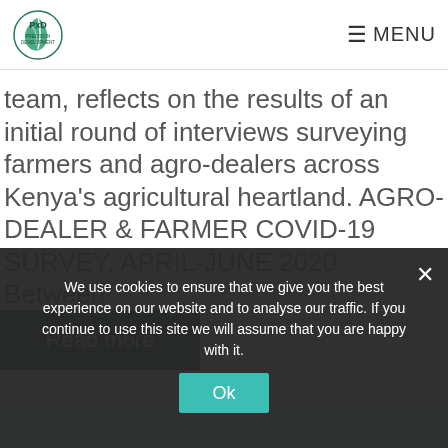PxD PRECISION DEVELOPMENT | MENU
team, reflects on the results of an initial round of interviews surveying farmers and agro-dealers across Kenya's agricultural heartland. AGRO-DEALER & FARMER COVID-19 SURVEY, APRIL-JUNE 2020 Between …
Read more
We use cookies to ensure that we give you the best experience on our website and to analyse our traffic. If you continue to use this site we will assume that you are happy with it.
Ok